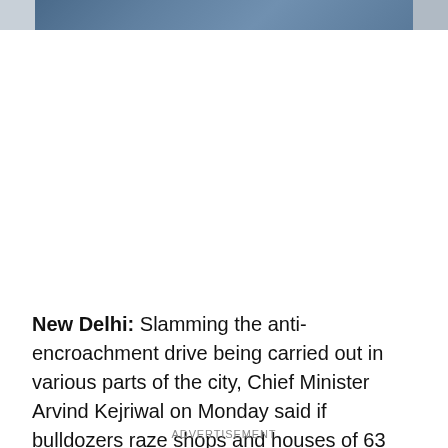[Figure (photo): Partial view of a person or persons in blue clothing, cropped at top of page]
New Delhi: Slamming the anti-encroachment drive being carried out in various parts of the city, Chief Minister Arvind Kejriwal on Monday said if bulldozers raze shops and houses of 63 lakh people in Delhi, which are considered illegal, it will be the "biggest destruction" in independent India.
ADVERTISEMENT